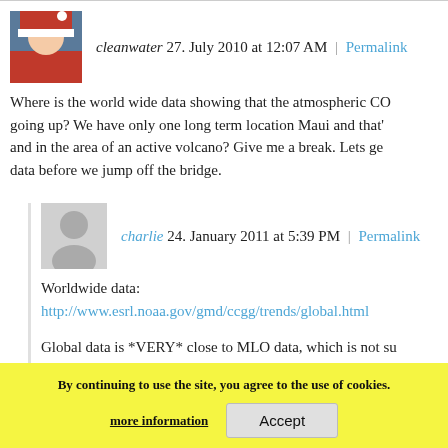cleanwater 27. July 2010 at 12:07 AM | Permalink
Where is the world wide data showing that the atmospheric CO going up? We have only one long term location Maui and that's and in the area of an active volcano? Give me a break. Lets get data before we jump off the bridge.
charlie 24. January 2011 at 5:39 PM | Permalink
Worldwide data:
http://www.esrl.noaa.gov/gmd/ccgg/trends/global.html
Global data is *VERY* close to MLO data, which is not su considering that Keeling et al. are not idiots and took great the volcano (hint: to almost always download from the even we their FAQ as well http://www.esrl.noaa.gov/gmd/obop/mlo/aboutus/faq.html
By continuing to use the site, you agree to the use of cookies. more information Accept